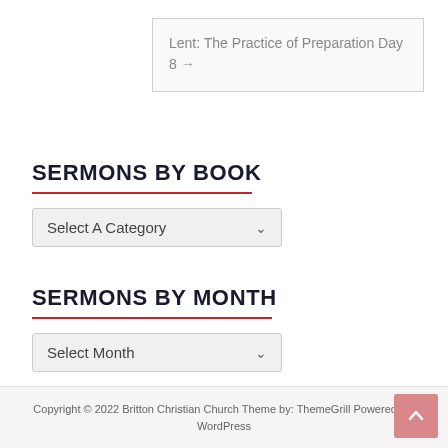Lent: The Practice of Preparation Day 8 →
SERMONS BY BOOK
Select A Category
SERMONS BY MONTH
Select Month
Copyright © 2022 Britton Christian Church Theme by: ThemeGrill Powered by: WordPress